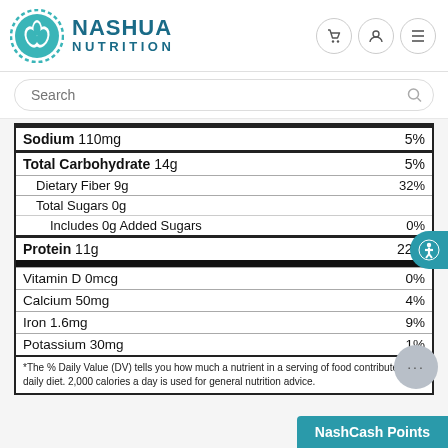NASHUA NUTRITION
| Nutrient | Amount | %DV |
| --- | --- | --- |
| Sodium | 110mg | 5% |
| Total Carbohydrate | 14g | 5% |
| Dietary Fiber | 9g | 32% |
| Total Sugars | 0g |  |
| Includes 0g Added Sugars |  | 0% |
| Protein | 11g | 22% |
| Vitamin D | 0mcg | 0% |
| Calcium | 50mg | 4% |
| Iron | 1.6mg | 9% |
| Potassium | 30mg | 1% |
*The % Daily Value (DV) tells you how much a nutrient in a serving of food contributes to a daily diet. 2,000 calories a day is used for general nutrition advice.